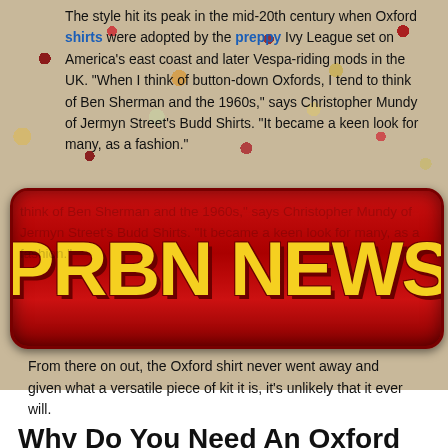The style hit its peak in the mid-20th century when Oxford shirts were adopted by the preppy Ivy League set on America's east coast and later Vespa-riding mods in the UK. "When I think of button-down Oxfords, I tend to think of Ben Sherman and the 1960s," says Christopher Mundy of Jermyn Street's Budd Shirts. "It became a keen look for many, as a fashion."
[Figure (logo): PRBN NEWS logo on red rounded rectangle banner]
From there on out, the Oxford shirt never went away and given what a versatile piece of kit it is, it's unlikely that it ever will.
Why Do You Need An Oxford Shirt?
In a word: versatility. The Oxford shirt has an unparalleled ability to blend into any setting and as part of almost any dress code. You could just as easily wear one to a formal